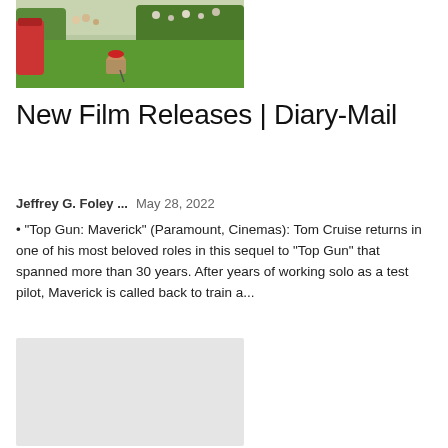[Figure (photo): Outdoor golf scene with a person crouching on a green fairway, wearing a red hat and plaid/checkered clothing, with spectators and trees in background. Red golf bag visible in foreground left.]
New Film Releases | Diary-Mail
Jeffrey G. Foley ...   May 28, 2022
"Top Gun: Maverick" (Paramount, Cinemas): Tom Cruise returns in one of his most beloved roles in this sequel to "Top Gun" that spanned more than 30 years. After years of working solo as a test pilot, Maverick is called back to train a...
[Figure (photo): Light gray placeholder image rectangle]